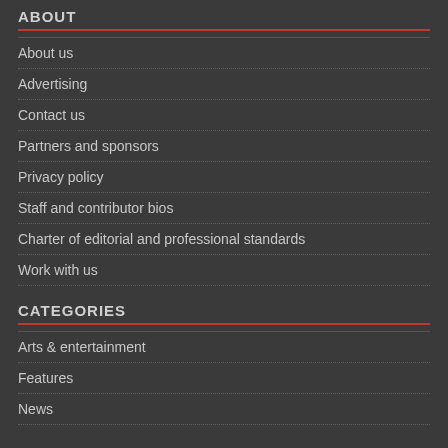ABOUT
About us
Advertising
Contact us
Partners and sponsors
Privacy policy
Staff and contributor bios
Charter of editorial and professional standards
Work with us
CATEGORIES
Arts & entertainment
Features
News